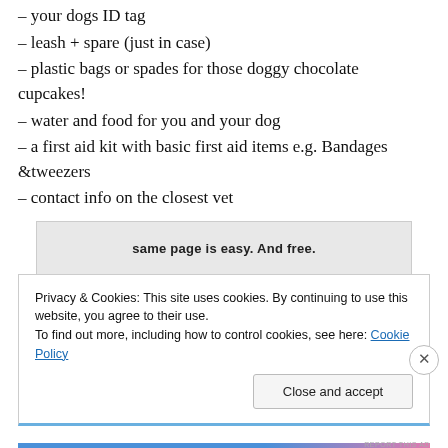– your dogs ID tag
– leash + spare (just in case)
– plastic bags or spades for those doggy chocolate cupcakes!
– water and food for you and your dog
– a first aid kit with basic first aid items e.g. Bandages &tweezers
– contact info on the closest vet
[Figure (other): Advertisement banner with bold text: 'same page is easy. And free.']
Privacy & Cookies: This site uses cookies. By continuing to use this website, you agree to their use.
To find out more, including how to control cookies, see here: Cookie Policy
Close and accept